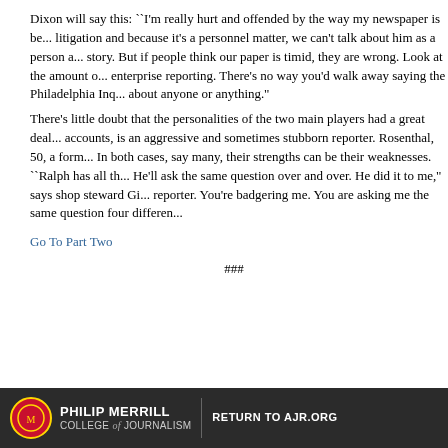Dixon will say this: ``I'm really hurt and offended by the way my newspaper is being treated. Because of litigation and because it's a personnel matter, we can't talk about him as a person and we can't talk about the story. But if people think our paper is timid, they are wrong. Look at the amount of investigative and enterprise reporting. There's no way you'd walk away saying the Philadelphia Inq... is afraid to write about anyone or anything."
There's little doubt that the personalities of the two main players had a great deal... accounts, is an aggressive and sometimes stubborn reporter. Rosenthal, 50, a form... In both cases, say many, their strengths can be their weaknesses. ``Ralph has all th... He'll ask the same question over and over. He did it to me," says shop steward Gi... reporter. You're badgering me. You are asking me the same question four differen...
Go To Part Two
###
PHILIP MERRILL COLLEGE of JOURNALISM | RETURN TO AJR.ORG